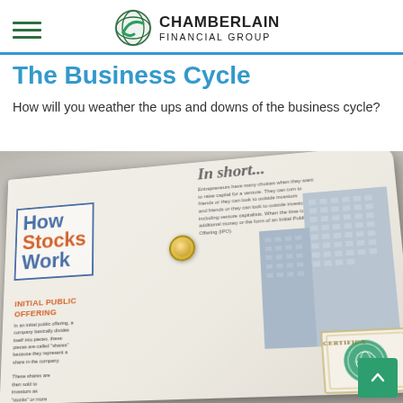Chamberlain Financial Group
The Business Cycle
How will you weather the ups and downs of the business cycle?
[Figure (photo): Angled photograph of a printed infographic booklet titled 'How Stocks Work', showing sections on 'In short...' explaining entrepreneur financing options, and 'Initial Public Offering' explaining IPOs. A building illustration and gold coin are visible, along with a certificate in the corner. A green scroll-to-top button appears at the bottom right.]